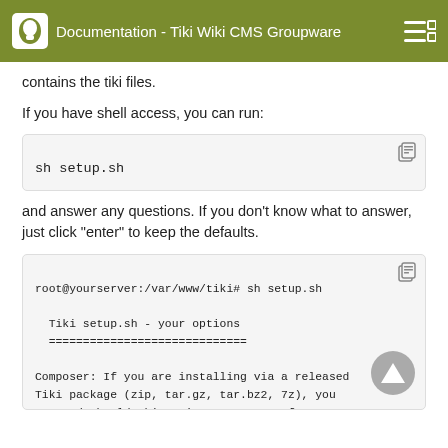Documentation - Tiki Wiki CMS Groupware
contains the tiki files.
If you have shell access, you can run:
sh setup.sh
and answer any questions. If you don't know what to answer, just click "enter" to keep the defaults.
root@yourserver:/var/www/tiki# sh setup.sh

  Tiki setup.sh - your options
  =============================

Composer: If you are installing via a released
Tiki package (zip, tar.gz, tar.bz2, 7z), you
can and should skip using Composer. If you are